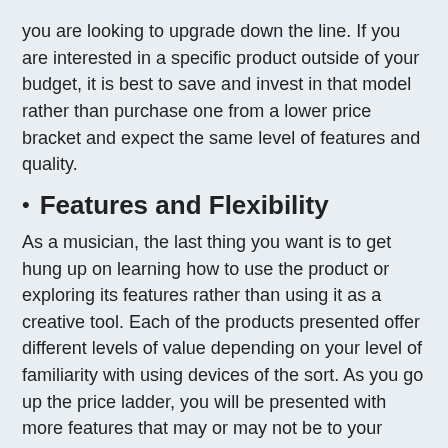you are looking to upgrade down the line. If you are interested in a specific product outside of your budget, it is best to save and invest in that model rather than purchase one from a lower price bracket and expect the same level of features and quality.
Features and Flexibility
As a musician, the last thing you want is to get hung up on learning how to use the product or exploring its features rather than using it as a creative tool. Each of the products presented offer different levels of value depending on your level of familiarity with using devices of the sort. As you go up the price ladder, you will be presented with more features that may or may not be to your benefit. For example, some devices offer the capability to record your own samples and increase your musical palette which may not be useful right away if you prefer factory preset sounds. The type of music you want to create should also be considered as certain drum